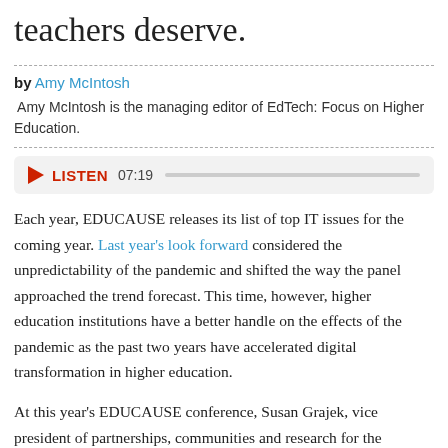teachers deserve.
by Amy McIntosh
Amy McIntosh is the managing editor of EdTech: Focus on Higher Education.
[Figure (other): Audio player widget with play button, LISTEN label, timestamp 07:19, and a progress bar]
Each year, EDUCAUSE releases its list of top IT issues for the coming year. Last year's look forward considered the unpredictability of the pandemic and shifted the way the panel approached the trend forecast. This time, however, higher education institutions have a better handle on the effects of the pandemic as the past two years have accelerated digital transformation in higher education.
At this year's EDUCAUSE conference, Susan Grajek, vice president of partnerships, communities and research for the